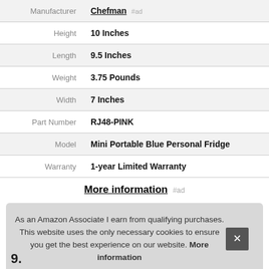| Attribute | Value |
| --- | --- |
| Manufacturer | Chefman |
| Height | 10 Inches |
| Length | 9.5 Inches |
| Weight | 3.75 Pounds |
| Width | 7 Inches |
| Part Number | RJ48-PINK |
| Model | Mini Portable Blue Personal Fridge |
| Warranty | 1-year Limited Warranty |
More information #ad
As an Amazon Associate I earn from qualifying purchases. This website uses the only necessary cookies to ensure you get the best experience on our website. More information
9.